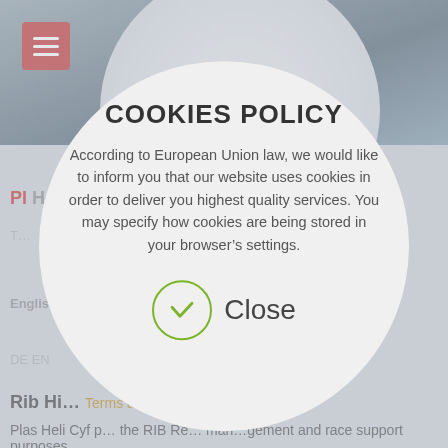[Figure (screenshot): Website background with dark blue-gray top area and partial page content visible behind a cookie policy modal]
COOKIES POLICY
According to European Union law, we would like to inform you that our website uses cookies in order to deliver you highest quality services. You may specify how cookies are being stored in your browser’s settings.
Close
Rib Hi…
Terms and Conditions
Plas Heli Cyf p… the RIB Re… man…gement and race support purposes.